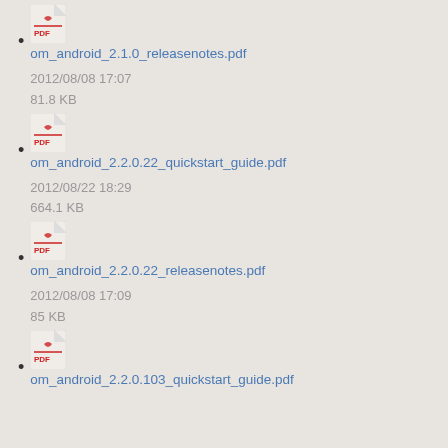om_android_2.1.0_releasenotes.pdf
2012/08/08 17:07
81.8 KB
om_android_2.2.0.22_quickstart_guide.pdf
2012/08/22 18:29
664.1 KB
om_android_2.2.0.22_releasenotes.pdf
2012/08/08 17:09
85 KB
om_android_2.2.0.103_quickstart_guide.pdf